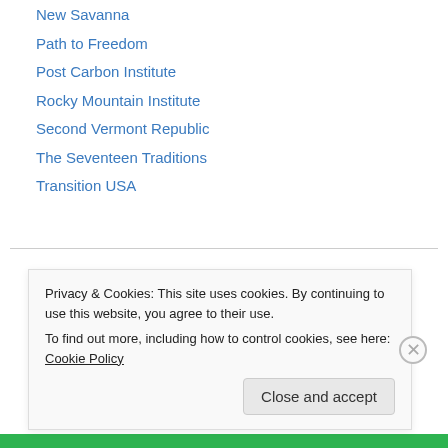New Savanna
Path to Freedom
Post Carbon Institute
Rocky Mountain Institute
Second Vermont Republic
The Seventeen Traditions
Transition USA
Archives
September 2019
August 2019
February 2019
Privacy & Cookies: This site uses cookies. By continuing to use this website, you agree to their use.
To find out more, including how to control cookies, see here: Cookie Policy
Close and accept